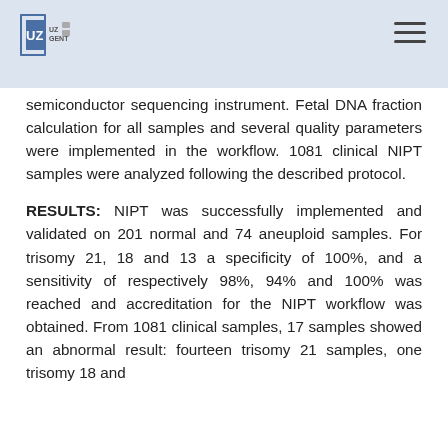UZ Gent logo and navigation header
semiconductor sequencing instrument. Fetal DNA fraction calculation for all samples and several quality parameters were implemented in the workflow. 1081 clinical NIPT samples were analyzed following the described protocol.
RESULTS: NIPT was successfully implemented and validated on 201 normal and 74 aneuploid samples. For trisomy 21, 18 and 13 a specificity of 100%, and a sensitivity of respectively 98%, 94% and 100% was reached and accreditation for the NIPT workflow was obtained. From 1081 clinical samples, 17 samples showed an abnormal result: fourteen trisomy 21 samples, one trisomy 18 and